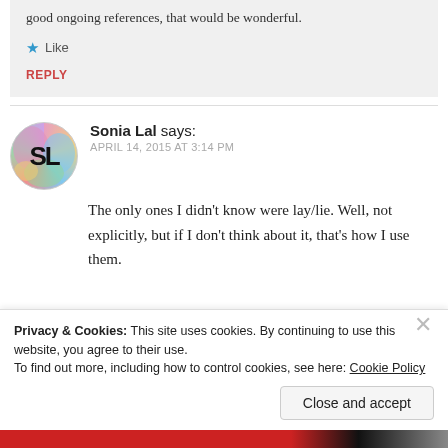good ongoing references, that would be wonderful.
★ Like
REPLY
Sonia Lal says:
APRIL 14, 2015 AT 3:14 PM
The only ones I didn't know were lay/lie. Well, not explicitly, but if I don't think about it, that's how I use them.
Privacy & Cookies: This site uses cookies. By continuing to use this website, you agree to their use.
To find out more, including how to control cookies, see here: Cookie Policy
Close and accept